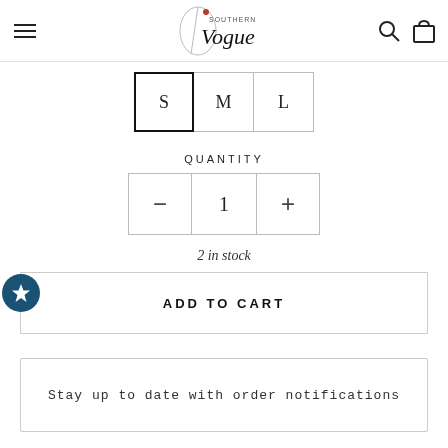Southern Vogue
S  M  L  (size selector)
QUANTITY
1 (quantity control with - and +)
2 in stock
ADD TO CART
Stay up to date with order notifications